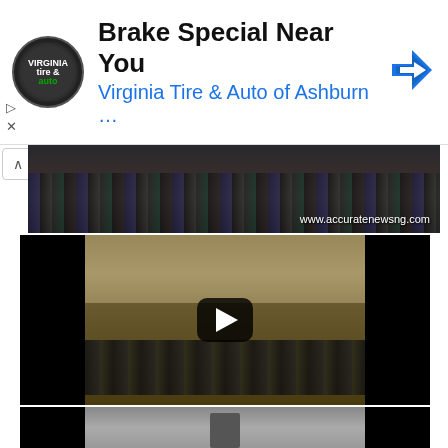[Figure (screenshot): Advertisement banner for Virginia Tire & Auto of Ashburn. Shows circular logo with 'tire & auto' text, headline 'Brake Special Near You', subtitle 'Virginia Tire & Auto of Ashburn ...', and a blue navigation arrow icon on the right. Small play/close controls on the left side.]
[Figure (screenshot): Partial video thumbnail showing crowd of people (legs visible), with watermark text 'www.accuratenewsng.com' in lower right.]
[Figure (screenshot): Video player showing people standing on a cliff or elevated ground overlooking a large body of muddy water or flood. A YouTube-style play button is overlaid in the center.]
[Figure (screenshot): Partial bottom video thumbnail showing a person with raised arm against a grey background.]